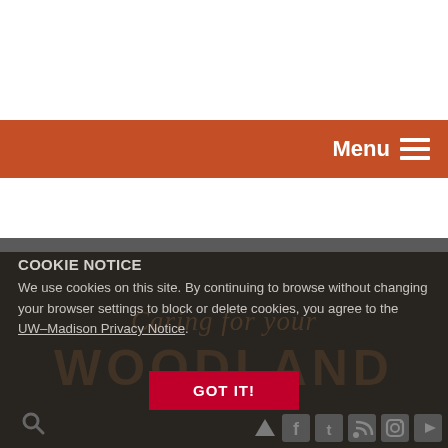Menu
[Figure (screenshot): Watermark text showing 'Caring for your WOODLAND' in brown/tan translucent letters over dark background]
COOKIE NOTICE
We use cookies on this site. By continuing to browse without changing your browser settings to block or delete cookies, you agree to the UW–Madison Privacy Notice.
GOT IT!